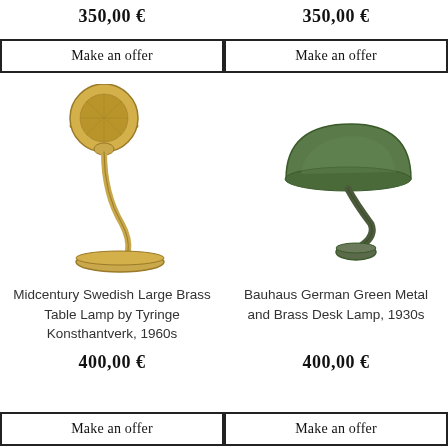350,00 €
350,00 €
Make an offer
Make an offer
[Figure (photo): Midcentury Swedish brass table lamp with circular disc shade and curved gooseneck arm on a round base]
[Figure (photo): Bauhaus German green metal dome desk lamp with curved arm on a small round base, 1930s]
Midcentury Swedish Large Brass Table Lamp by Tyringe Konsthantverk, 1960s
Bauhaus German Green Metal and Brass Desk Lamp, 1930s
400,00 €
400,00 €
Make an offer
Make an offer